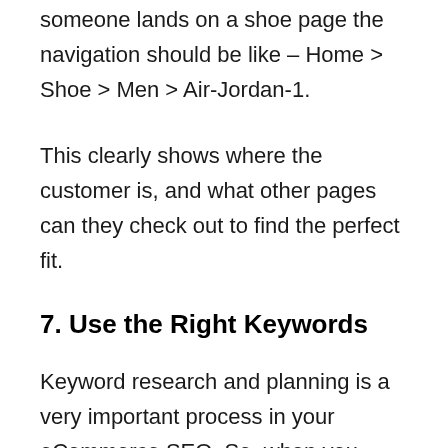someone lands on a shoe page the navigation should be like – Home > Shoe > Men > Air-Jordan-1.
This clearly shows where the customer is, and what other pages can they check out to find the perfect fit.
7. Use the Right Keywords
Keyword research and planning is a very important process in your eCommerce SEO. So, when you choose keywords for your product,